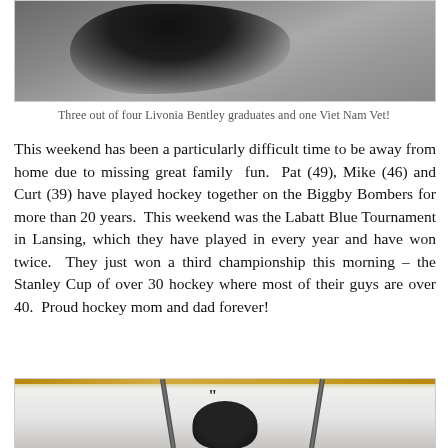[Figure (photo): Photo showing shadows on pavement/ice surface, partial view of people from below]
Three out of four Livonia Bentley graduates and one Viet Nam Vet!
This weekend has been a particularly difficult time to be away from home due to missing great family  fun.  Pat (49), Mike (46) and Curt (39) have played hockey together on the Biggby Bombers for more than 20 years.  This weekend was the Labatt Blue Tournament in Lansing, which they have played in every year and have won twice.  They just won a third championship this morning – the Stanley Cup of over 30 hockey where most of their guys are over 40.  Proud hockey mom and dad forever!
[Figure (photo): Hockey players on ice rink, showing hockey sticks raised and helmets, viewed from ice level]